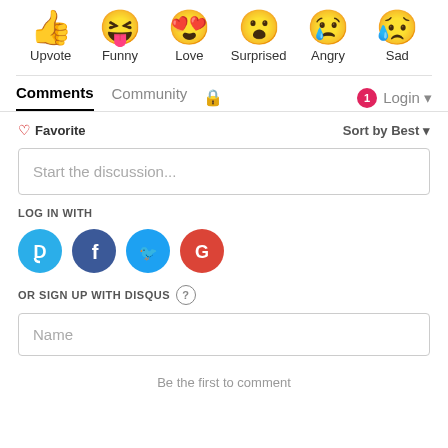[Figure (illustration): Row of six emoji reaction icons: thumbs up (Upvote), laughing face with tongue (Funny), heart-eyes face (Love), surprised face (Surprised), crying face (Angry), sad face with tear (Sad)]
Comments  Community  🔒  [1] Login
♡ Favorite    Sort by Best
Start the discussion...
LOG IN WITH
[Figure (illustration): Four social login buttons: Disqus (D, blue), Facebook (f, dark blue), Twitter (bird, light blue), Google (G, red)]
OR SIGN UP WITH DISQUS ?
Name
Be the first to comment